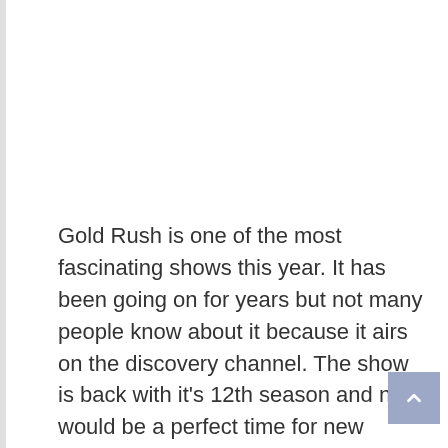Gold Rush is one of the most fascinating shows this year. It has been going on for years but not many people know about it because it airs on the discovery channel. The show is back with it's 12th season and now would be a perfect time for new viewers to start watching it. Lets discuss why.